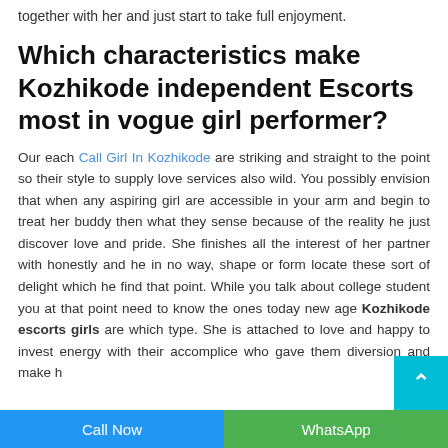together with her and just start to take full enjoyment.
Which characteristics make Kozhikode independent Escorts most in vogue girl performer?
Our each Call Girl In Kozhikode are striking and straight to the point so their style to supply love services also wild. You possibly envision that when any aspiring girl are accessible in your arm and begin to treat her buddy then what they sense because of the reality he just discover love and pride. She finishes all the interest of her partner with honestly and he in no way, shape or form locate these sort of delight which he find that point. While you talk about college student you at that point need to know the ones today new age Kozhikode escorts girls are which type. She is attached to love and happy to invest energy with their accomplice who gave them diversion and make h...
Call Now    WhatsApp